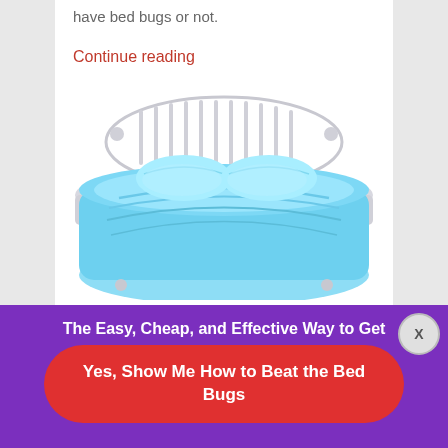have bed bugs or not.
Continue reading
[Figure (illustration): Illustration of a bed with light blue bedding and pillows, with a white headboard, viewed from the front/foot angle.]
The Easy, Cheap, and Effective Way to Get Rid of Bed Bugs
Yes, Show Me How to Beat the Bed Bugs